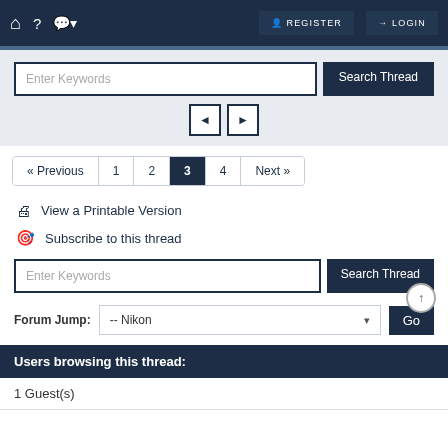REGISTER LOGIN
[Figure (screenshot): Search thread input bar with Enter Keywords placeholder and Search Thread button, with left/right navigation arrows below]
[Figure (screenshot): Pagination bar: Previous, 1, 2, 3 (active), 4, Next]
View a Printable Version
Subscribe to this thread
[Figure (screenshot): Second search bar with Enter Keywords placeholder and Search Thread button]
[Figure (screenshot): Forum Jump dropdown showing -- Nikon with a Go button]
Users browsing this thread:
1 Guest(s)